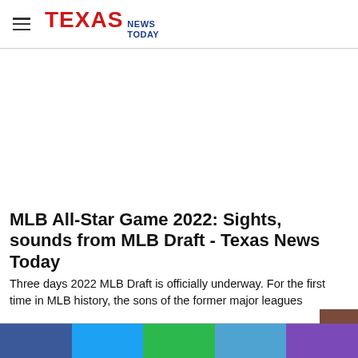TEXAS NEWS TODAY
[Figure (other): Advertisement area - blank white space]
MLB All-Star Game 2022: Sights, sounds from MLB Draft - Texas News Today
Three days 2022 MLB Draft is officially underway. For the first time in MLB history, the sons of the former major leagues
[Figure (infographic): Social sharing buttons bar: Facebook (blue), Twitter (cyan), Green share button, LinkedIn (light blue), Purple share button]